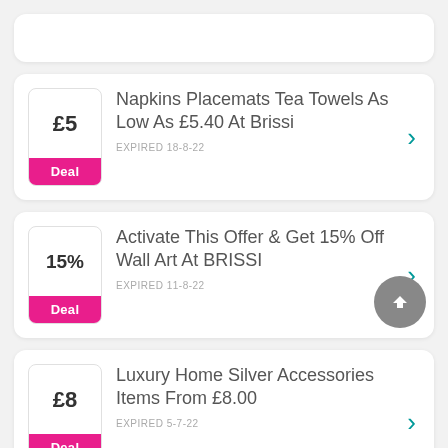Napkins Placemats Tea Towels As Low As £5.40 At Brissi — EXPIRED 18-8-22
Activate This Offer & Get 15% Off Wall Art At BRISSI — EXPIRED 11-8-22
Luxury Home Silver Accessories Items From £8.00 — EXPIRED 5-7-22